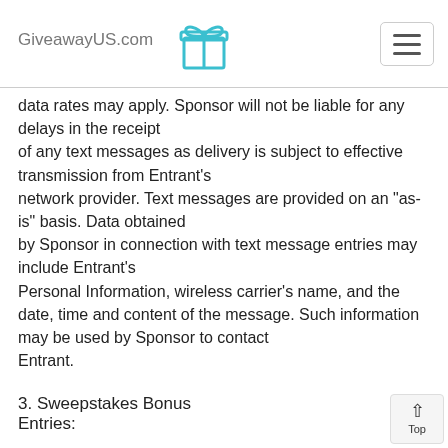GiveawayUS.com
data rates may apply. Sponsor will not be liable for any delays in the receipt of any text messages as delivery is subject to effective transmission from Entrant's network provider. Text messages are provided on an "as-is" basis. Data obtained by Sponsor in connection with text message entries may include Entrant's Personal Information, wireless carrier's name, and the date, time and content of the message. Such information may be used by Sponsor to contact Entrant.
3. Sweepstakes Bonus Entries:
Entrant may earn bonus (additional) entries into the Sweepstakes. After an Entrant to the Sweepstakes submits their entry form through the method(s) described above, Entrant will be prompted with an opportunity to obtain additional entries into the Sweepstakes by completing